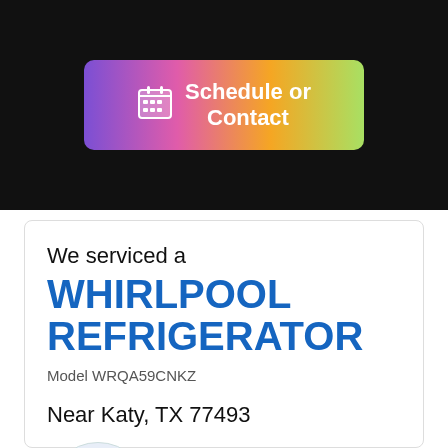[Figure (screenshot): Schedule or Contact button with calendar icon, gradient background from purple to green on dark banner]
We serviced a
WHIRLPOOL REFRIGERATOR
Model WRQA59CNKZ
Near Katy, TX 77493
[Figure (logo): Colorful geometric low-poly deer/stag logo inside a light blue circle]